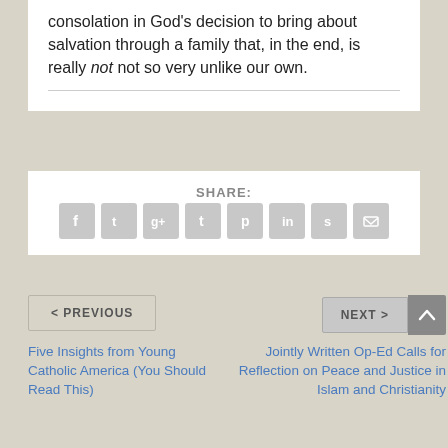consolation in God's decision to bring about salvation through a family that, in the end, is really not not so very unlike our own.
SHARE:
[Figure (other): Row of social media sharing icon buttons: Facebook, Twitter, Google+, Tumblr, Pinterest, LinkedIn, StumbleUpon, Email — all in grey rounded squares]
< PREVIOUS
NEXT >
Five Insights from Young Catholic America (You Should Read This)
Jointly Written Op-Ed Calls for Reflection on Peace and Justice in Islam and Christianity